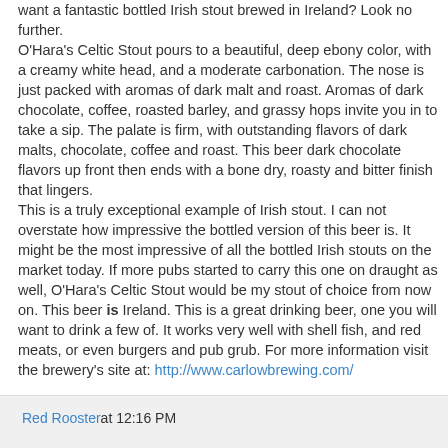want a fantastic bottled Irish stout brewed in Ireland? Look no further.
O'Hara's Celtic Stout pours to a beautiful, deep ebony color, with a creamy white head, and a moderate carbonation. The nose is just packed with aromas of dark malt and roast. Aromas of dark chocolate, coffee, roasted barley, and grassy hops invite you in to take a sip. The palate is firm, with outstanding flavors of dark malts, chocolate, coffee and roast. This beer dark chocolate flavors up front then ends with a bone dry, roasty and bitter finish that lingers.
This is a truly exceptional example of Irish stout. I can not overstate how impressive the bottled version of this beer is. It might be the most impressive of all the bottled Irish stouts on the market today. If more pubs started to carry this one on draught as well, O'Hara's Celtic Stout would be my stout of choice from now on. This beer is Ireland. This is a great drinking beer, one you will want to drink a few of. It works very well with shell fish, and red meats, or even burgers and pub grub. For more information visit the brewery's site at: http://www.carlowbrewing.com/
Red Rooster at 12:16 PM